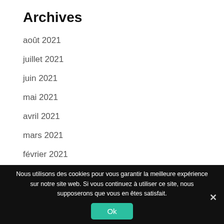Archives
août 2021
juillet 2021
juin 2021
mai 2021
avril 2021
mars 2021
février 2021
janvier 2021
décembre 2020
Nous utilisons des cookies pour vous garantir la meilleure expérience sur notre site web. Si vous continuez à utiliser ce site, nous supposerons que vous en êtes satisfait.